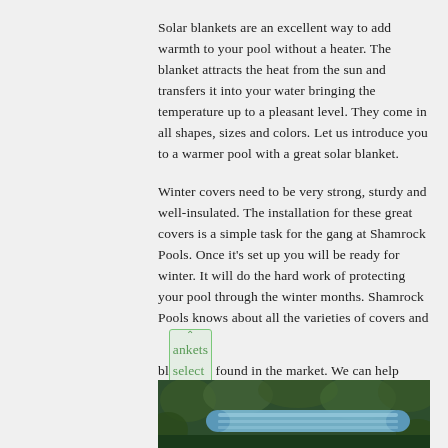Solar blankets are an excellent way to add warmth to your pool without a heater. The blanket attracts the heat from the sun and transfers it into your water bringing the temperature up to a pleasant level. They come in all shapes, sizes and colors. Let us introduce you to a warmer pool with a great solar blanket.
Winter covers need to be very strong, sturdy and well-insulated. The installation for these great covers is a simple task for the gang at Shamrock Pools. Once it's set up you will be ready for winter. It will do the hard work of protecting your pool through the winter months. Shamrock Pools knows about all the varieties of covers and blankets found in the market. We can help you select exactly what you need.
[Figure (photo): Photo of pool with blue rolled solar blanket/cover visible, surrounded by dark green foliage background, partially cropped at bottom of page]